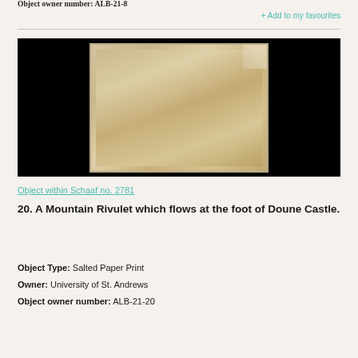Object owner number: ALB-21-8
+ Add to my favourites
[Figure (photo): A faded sepia/tan photograph of a mountain rivulet scene, displayed against a black background. The photograph shows a landscape with water and trees in muted brown tones.]
Object within Schaaf no. 2781
20. A Mountain Rivulet which flows at the foot of Doune Castle.
Object Type: Salted Paper Print
Owner: University of St. Andrews
Object owner number: ALB-21-20